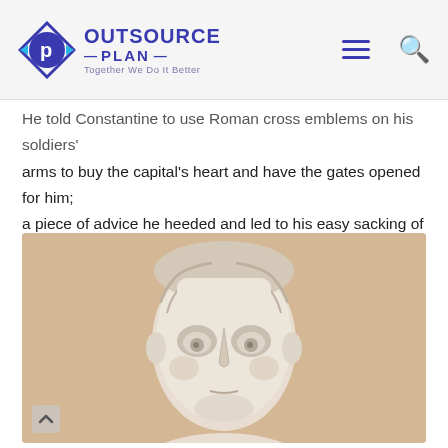OUTSOURCE PLAN — Together We Do It Better
He told Constantine to use Roman cross emblems on his soldiers' arms to buy the capital's heart and have the gates opened for him; a piece of advice he heeded and led to his easy sacking of a city that had endured a two-year-long siege.
[Figure (photo): Marble bust/head sculpture of Constantine, showing detailed carved hair and large eyes, photographed against a beige/peach wall background.]